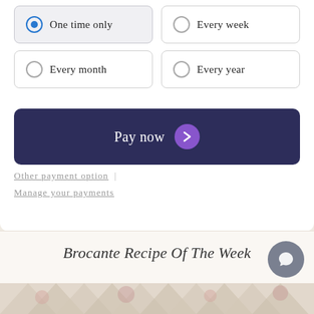One time only
Every week
Every month
Every year
Pay now
Other payment option | Manage your payments
Brocante Recipe Of The Week
[Figure (photo): Floral decorative strip at the bottom of the page with flowers and triangular patterns]